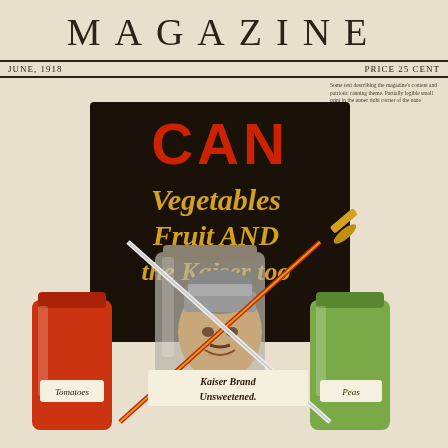MAGAZINE
JUNE, 1918    PRICE 25 CENTS
Small descriptive text block (partially legible) discussing the magazine content, vegetables, fruit, canning, and patriotic themes related to World War I.
[Figure (illustration): WWI-era propaganda magazine cover illustration showing a darkly humorous image. A large black poster/sign reads 'CAN' in bold red letters at the top, followed by 'Vegetables Fruit AND the Kaiser too' in yellow/gold lettering. A menacing figure of the Kaiser (German emperor Wilhelm II) is depicted trapped inside a large glass canning jar, with crossed swords overlaid on the image. Two canning jars flank the central poster — a red jar labeled 'Tomatoes' on the left and a green jar labeled 'Peas' on the right. At the bottom of the poster reads 'Kaiser Brand Unsweetened.' The background is a aged beige/cream color.]